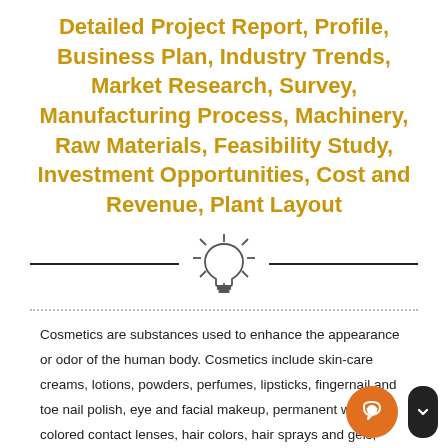Detailed Project Report, Profile, Business Plan, Industry Trends, Market Research, Survey, Manufacturing Process, Machinery, Raw Materials, Feasibility Study, Investment Opportunities, Cost and Revenue, Plant Layout
[Figure (illustration): Horizontal divider with a light bulb icon in the center, flanked by two horizontal lines]
Cosmetics are substances used to enhance the appearance or odor of the human body. Cosmetics include skin-care creams, lotions, powders, perfumes, lipsticks, fingernail and toe nail polish, eye and facial makeup, permanent waves, colored contact lenses, hair colors, hair sprays and gels, deodorants, baby products, bath oils, bubble bath, bath salts, butters and many other types of products. Herbal have growing demand in the world market and are an invaluable gift of